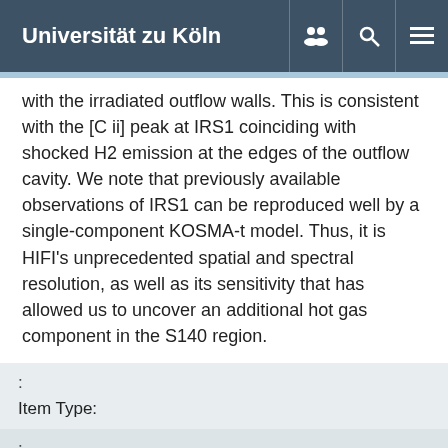Universität zu Köln
with the irradiated outflow walls. This is consistent with the [C ii] peak at IRS1 coinciding with shocked H2 emission at the edges of the outflow cavity. We note that previously available observations of IRS1 can be reproduced well by a single-component KOSMA-t model. Thus, it is HIFI's unprecedented spatial and spectral resolution, as well as its sensitivity that has allowed us to uncover an additional hot gas component in the S140 region.
| : |  |
| Item Type: |  |
| : |  |
| Journal Article |  |
| : |  |